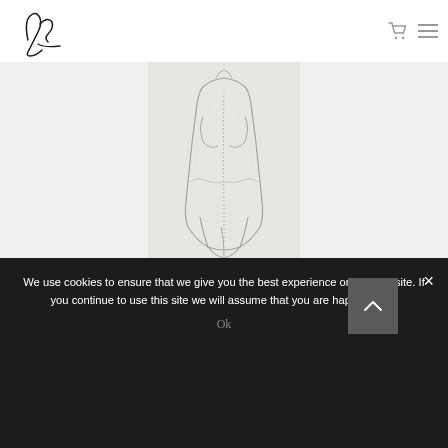[Figure (logo): Handwritten script logo - appears to be initials 'Jd' with a horizontal underline stroke]
[Figure (illustration): Pencil sketch illustration of a male torso from behind, showing back and lower body]
Strong but fragile man
kr 8,900.00
We use cookies to ensure that we give you the best experience on our website. If you continue to use this site we will assume that you are happy with it.
Ok